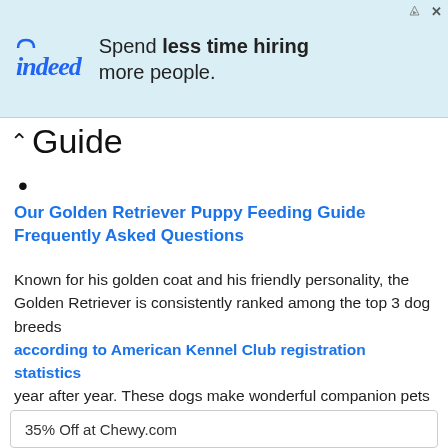[Figure (screenshot): Indeed advertisement banner: 'Spend less time hiring more people.' on light blue background with Indeed logo]
Guide
•
Our Golden Retriever Puppy Feeding Guide Frequently Asked Questions
Known for his golden coat and his friendly personality, the Golden Retriever is consistently ranked among the top 3 dog breeds according to American Kennel Club registration statistics year after year. These dogs make wonderful companion pets and they are very family-friendly. If youre looking for a loyal friend and companion, this is the breed for you!
35% Off at Chewy.com